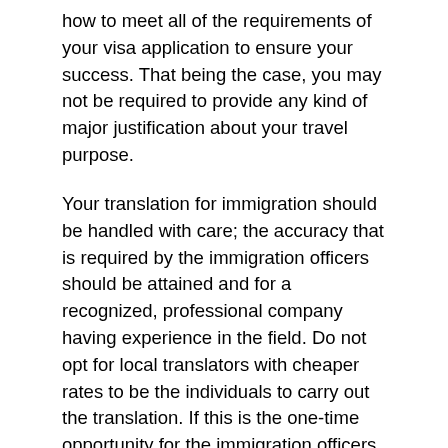how to meet all of the requirements of your visa application to ensure your success. That being the case, you may not be required to provide any kind of major justification about your travel purpose.
Your translation for immigration should be handled with care; the accuracy that is required by the immigration officers should be attained and for a recognized, professional company having experience in the field. Do not opt for local translators with cheaper rates to be the individuals to carry out the translation. If this is the one-time opportunity for the immigration officers to guarantee access into their country, it is necessary that you take all the precautions before you are asked to do so and result in me further delaying.
Determine your course of action and try to eradicate all the possible errors that could engulf your translations or your immigration process. The errors could lead to misinterpretation of your causes, and that will create a dilemma for your future in the foreign state that you have